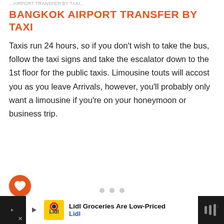...AIRPORT TRANSFER BY TAXI...
BANGKOK AIRPORT TRANSFER BY TAXI
Taxis run 24 hours, so if you don't wish to take the bus, follow the taxi signs and take the escalator down to the 1st floor for the public taxis. Limousine touts will accost you as you leave Arrivals, however, you'll probably only want a limousine if you're on your honeymoon or business trip.
[Figure (other): Heart favorite button (orange circle with white heart icon) and share button (white circle with share icon)]
[Figure (other): Three grey pagination dots]
Lidl Groceries Are Low-Priced Lidl